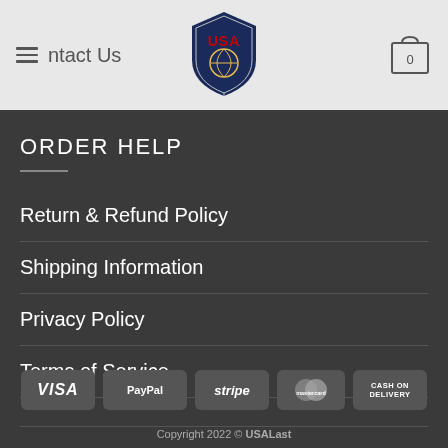Contact Us
ORDER HELP
Return & Refund Policy
Shipping Information
Privacy Policy
Terms of Service
[Figure (logo): Payment method icons: VISA, PayPal, stripe, MasterCard, CASH ON DELIVERY]
Copyright 2022 © USALast